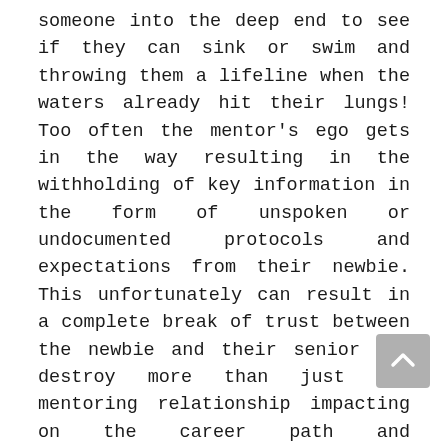someone into the deep end to see if they can sink or swim and throwing them a lifeline when the waters already hit their lungs! Too often the mentor's ego gets in the way resulting in the withholding of key information in the form of unspoken or undocumented protocols and expectations from their newbie. This unfortunately can result in a complete break of trust between the newbie and their senior and destroy more than just the mentoring relationship impacting on the career path and contributions of even the most talented and experienced of newbies.
Allowing a person to take ownership is more than just giving them the tools and resources to effectively run with the